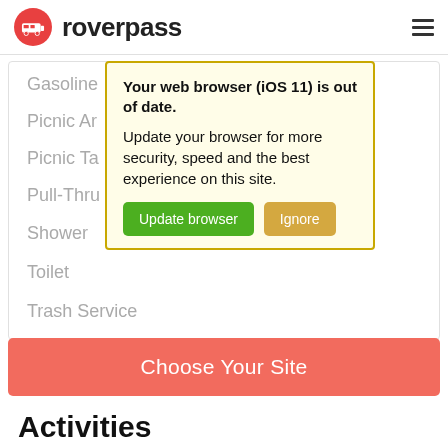roverpass
Gasoline
Picnic Area
Picnic Table
Pull-Through Site
Shower
Toilet
Trash Service
[Figure (screenshot): Browser warning dialog with yellow background stating 'Your web browser (iOS 11) is out of date. Update your browser for more security, speed and the best experience on this site.' with green 'Update browser' button and tan 'Ignore' button]
Choose Your Site
Activities